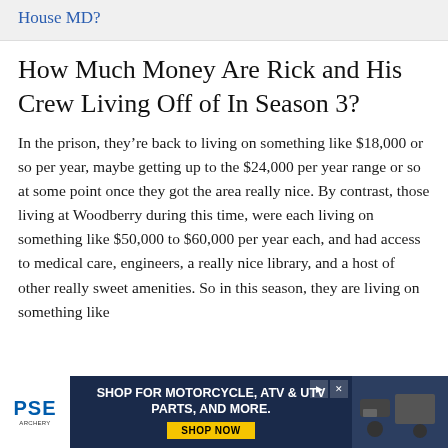House MD?
How Much Money Are Rick and His Crew Living Off of In Season 3?
In the prison, they’re back to living on something like $18,000 or so per year, maybe getting up to the $24,000 per year range or so at some point once they got the area really nice. By contrast, those living at Woodberry during this time, were each living on something like $50,000 to $60,000 per year each, and had access to medical care, engineers, a really nice library, and a host of other really sweet amenities. So in this season, they are living on something like
[Figure (other): Advertisement banner for PSE: Shop for Motorcycle, ATV & UTV Parts, and More. Shop Now.]